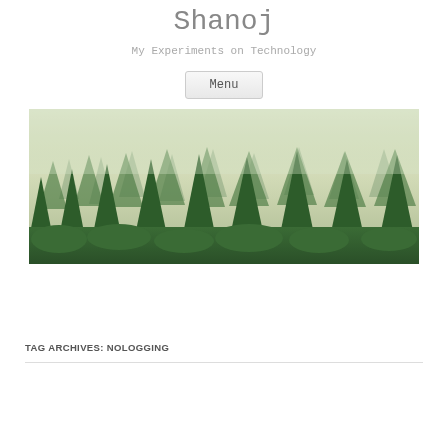Shanoj
My Experiments on Technology
Menu
[Figure (photo): A misty forest of tall green pine/fir trees with fog in the background, landscape orientation.]
TAG ARCHIVES: NOLOGGING